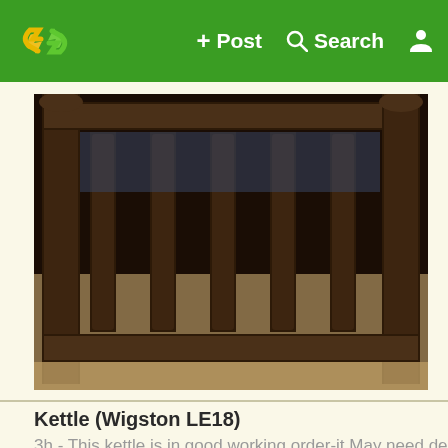+ Post  Search  [user icon]
[Figure (photo): Close-up photo of a dark wooden bed frame with vertical slats/spindles]
Kettle (Wigston LE18)
3h - This kettle is in good working order-it May need descalin…
[Figure (photo): Photo of a silver/grey kettle against a plain background]